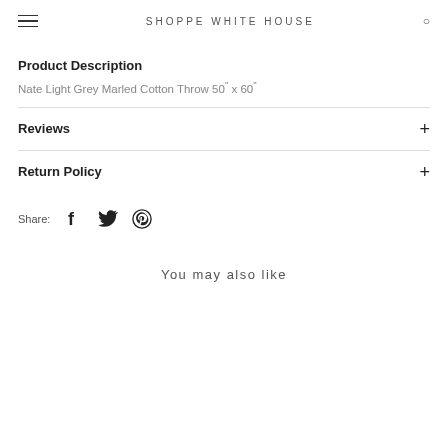SHOPPE WHITE HOUSE
Product Description
Nate Light Grey Marled Cotton Throw 50" x 60"
Reviews
Return Policy
Share:
You may also like